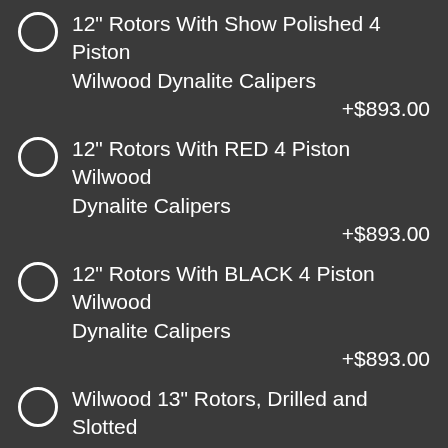12" Rotors With Show Polished 4 Piston Wilwood Dynalite Calipers +$893.00
12" Rotors With RED 4 Piston Wilwood Dynalite Calipers +$893.00
12" Rotors With BLACK 4 Piston Wilwood Dynalite Calipers +$893.00
Wilwood 13" Rotors, Drilled and Slotted With Show Polished 6 Piston Wilwood Calipers, Includes 2 Piece Aluminum Hub +$1,757.00